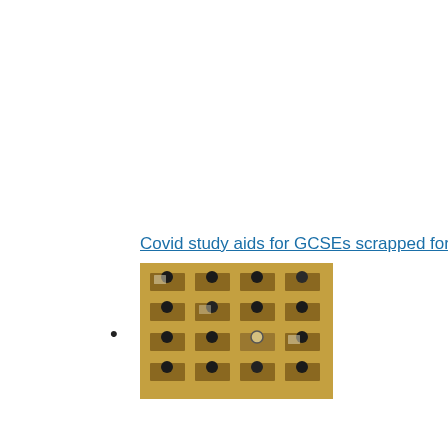Covid study aids for GCSEs scrapped for 2023
[Figure (photo): Overhead view of students sitting at desks in an examination hall, viewed from above showing heads and desks arranged in rows]